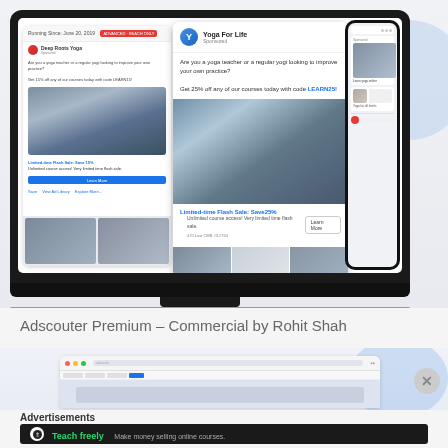[Figure (screenshot): Screenshot of Adscouter Premium tool showing Facebook ad examples for 'Yoga For Life' sponsored ads on laptop and mobile mockups. The ads show yoga exercise images with text 'Are you a yoga teacher or a regular yogi looking to improve your own practice? Get 25% off any of our courses today with code LEARN25!' and a 'Limited-time Flash Sale: Save 25%' call to action with Learn More button.]
Adscouter Premium – Commercial by Rohit Shah
[Figure (screenshot): Lower portion of Adscouter Premium browser screenshot showing the tool interface with navigation tabs, with a blue circular design element and an X close button overlay.]
Advertisements
[Figure (illustration): Dark advertisement banner reading 'Teach freely – Make money selling online courses.' with a white circular icon on the left.]